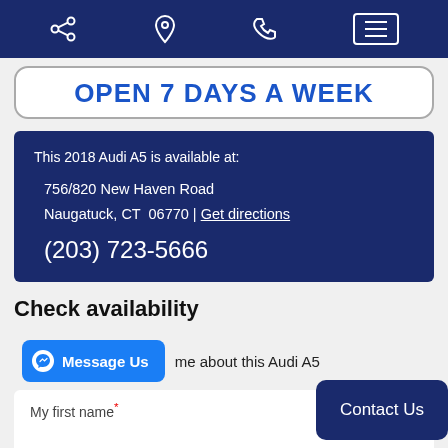Navigation bar with share, location, phone, and menu icons
OPEN 7 DAYS A WEEK
This 2018 Audi A5 is available at: 756/820 New Haven Road Naugatuck, CT 06770 | Get directions (203) 723-5666
Check availability
Message Us — me about this Audi A5
My first name* Contact Us
Last name*